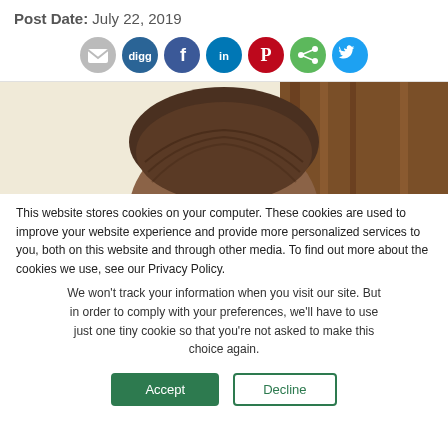Post Date: July 22, 2019
[Figure (other): Social sharing icons: email, digg, facebook, linkedin, pinterest, share, twitter]
[Figure (photo): Cropped photo showing the top of a person's head with brown hair, and a wooden background]
This website stores cookies on your computer. These cookies are used to improve your website experience and provide more personalized services to you, both on this website and through other media. To find out more about the cookies we use, see our Privacy Policy.
We won't track your information when you visit our site. But in order to comply with your preferences, we'll have to use just one tiny cookie so that you're not asked to make this choice again.
Accept | Decline